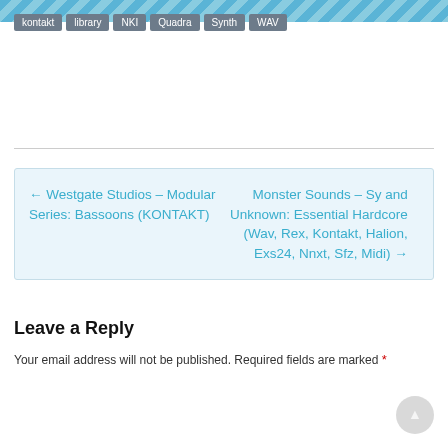kontakt | library | NKI | Quadra | Synth | WAV
← Westgate Studios – Modular Series: Bassoons (KONTAKT)
Monster Sounds – Sy and Unknown: Essential Hardcore (Wav, Rex, Kontakt, Halion, Exs24, Nnxt, Sfz, Midi) →
Leave a Reply
Your email address will not be published. Required fields are marked *